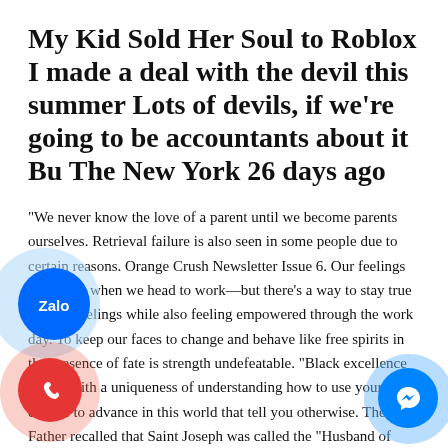My Kid Sold Her Soul to Roblox I made a deal with the devil this summer Lots of devils, if we're going to be accountants about it Bu The New York 26 days ago
“We never know the love of a parent until we become parents ourselves. Retrieval failure is also seen in some people due to certain reasons. Orange Crush Newsletter Issue 6. Our feelings don’t stop when we head to work—but there’s a way to stay true to your feelings while also feeling empowered through the work day. To keep our faces to change and behave like free spirits in the presence of fate is strength undefeatable. “Black excellence comes with a uniqueness of understanding how to use your culture to advance in this world that tell you otherwise. The Holy Father recalled that Saint Joseph was called the “Husband of Mary” or even his “supposed” father. There are also highly stylized versions of the scarab, which make for beautiful